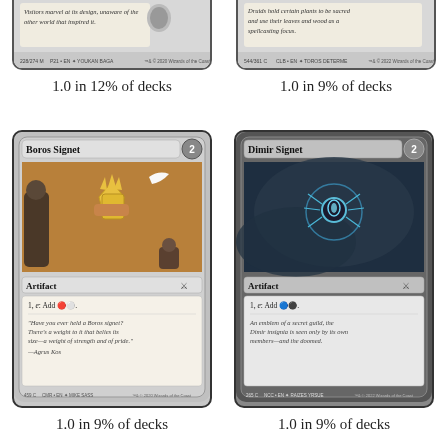[Figure (illustration): Top-left: cropped Magic: The Gathering card bottom showing italic flavor text 'Visitors marvel at its design, unaware of the other world that inspired it.' with card number 228/274 M, P21, EN, art by Youkan Bag]
[Figure (illustration): Top-right: cropped Magic: The Gathering card bottom showing italic flavor text 'Druids hold certain plants to be sacred and use their leaves and wood as a spellcasting focus.' with card number 544/361 C, CLB, EN, art by Toros Determe]
1.0 in 12% of decks
1.0 in 9% of decks
[Figure (illustration): Bottom-left: Boros Signet Magic: The Gathering card. Full card showing armored warrior holding golden signet aloft. Artifact type. Text: 1, tap: Add red white. Flavor: 'Have you ever held a Boros signet? There's a weight to it that belies its size—a weight of strength and of pride.' —Agrus Kos. Card number 459 C, CMR, EN, art by Mike Sass]
[Figure (illustration): Bottom-right: Dimir Signet Magic: The Gathering card. Full card showing glowing blue spider symbol on dark background. Artifact type. Text: 1, tap: Add blue black. Flavor: 'An emblem of a secret guild, the Dimir insignia is seen only by its own members—and the doomed.' Card number 2?? C, NCC, EN, art by Raizes Vrsue]
1.0 in 9% of decks
1.0 in 9% of decks